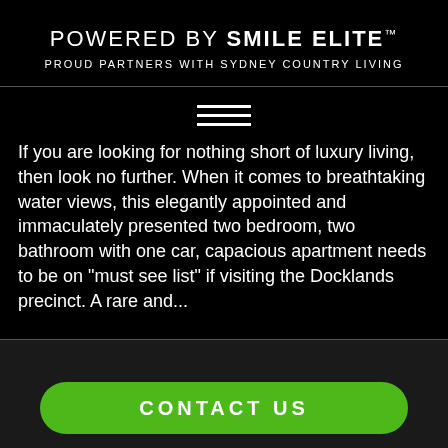POWERED BY SMILE ELITE™
PROUD PARTNERS WITH SYDNEY COUNTRY LIVING
[Figure (other): Hamburger menu icon with three horizontal lines]
If you are looking for nothing short of luxury living, then look no further. When it comes to breathtaking water views, this elegantly appointed and immaculately presented two bedroom, two bathroom with one car, capacious apartment needs to be on "must see list" if visiting the Docklands precinct. A rare and...
CONTACT US